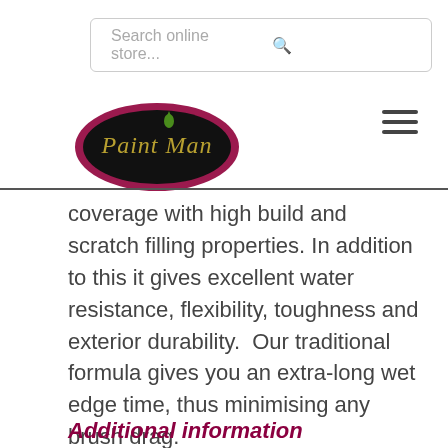[Figure (screenshot): Search bar with 'Search online store...' placeholder and magnifying glass icon]
[Figure (logo): Paint Man logo: dark oval with pink/magenta border, italic text 'Paint Man' in gold/olive color with green paint drop above]
coverage with high build and scratch filling properties. In addition to this it gives excellent water resistance, flexibility, toughness and exterior durability.  Our traditional formula gives you an extra-long wet edge time, thus minimising any brush drag.
Additional information